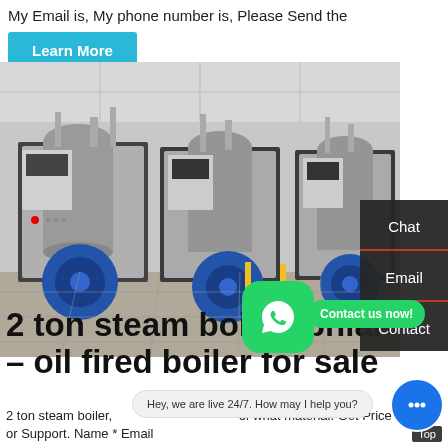My Email is, My phone number is, Please Send the
Learn More
[Figure (photo): Industrial steam boilers in a facility — multiple grey cylindrical boiler units with blue fan/blower components and control panels, installed in a clean indoor space with white tiled floor.]
Chat
Email
Contact
2 ton steam boiler, phiar – oil fired boiler for sale
2 ton steam boiler, of what material. Get Price or Support. Name * Email
Contact us now!
Hey, we are live 24/7. How may I help you?